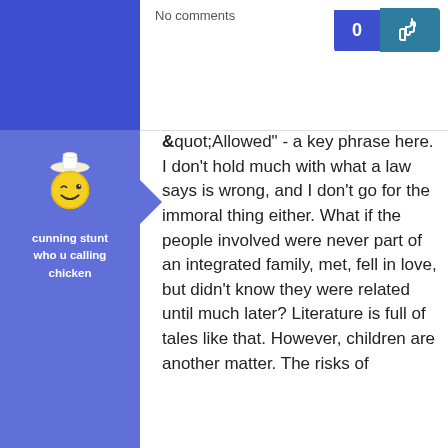No comments
[Figure (infographic): Vote button showing 0 count with thumbs up icon, blue and teal background]
[Figure (illustration): Cartoon yellow smiley face character with white chef hat, winking]
cunning stunt
who u calling chicken
&quot;Allowed" - a key phrase here. I don't hold much with what a law says is wrong, and I don't go for the immoral thing either. What if the people involved were never part of an integrated family, met, fell in love, but didn't know they were related until much later? Literature is full of tales like that. However, children are another matter. The risks of